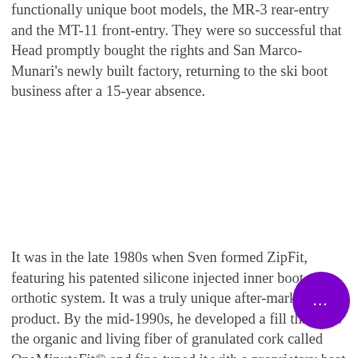functionally unique boot models, the MR-3 rear-entry and the MT-11 front-entry. They were so successful that Head promptly bought the rights and San Marco-Munari's newly built factory, returning to the ski boot business after a 15-year absence.
It was in the late 1980s when Sven formed ZipFit, featuring his patented silicone injected inner boot and orthotic system. It was a truly unique after-market product. By the mid-1990s, he developed a fill that uses the organic and living fiber of granulated cork called OneMinuteFit© and fine-tuned it with a proprietary heat sensitive binder that creates an active heat-exchange quality that is essential for skiing with comfort and control. Says Sven: “That is one reason why ZipFit constantly adjust to your feet and lower legs, ensuring the best skiing experience” The OneMinuteFit© system